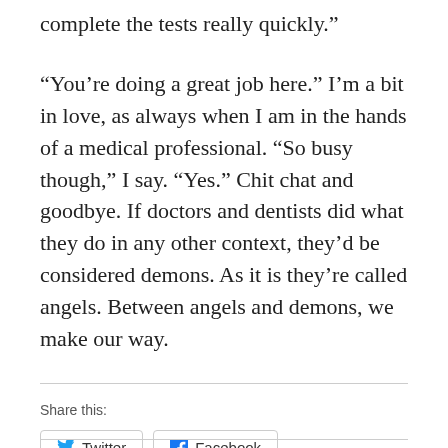complete the tests really quickly.”
“You’re doing a great job here.” I’m a bit in love, as always when I am in the hands of a medical professional. “So busy though,” I say. “Yes.” Chit chat and goodbye. If doctors and dentists did what they do in any other context, they’d be considered demons. As it is they’re called angels. Between angels and demons, we make our way.
Share this:
Twitter
Facebook